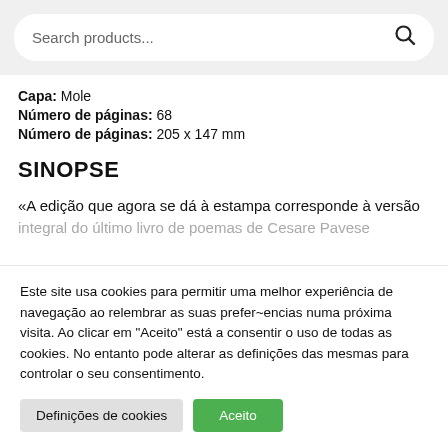[Figure (screenshot): Search bar with placeholder text 'Search products...' and a magnifying glass icon on a light grey background]
Capa: Mole
Número de páginas: 68
Número de páginas: 205 x 147 mm
SINOPSE
«A edição que agora se dá à estampa corresponde à versão integral do último livro de poemas de Cesare Pavese
Este site usa cookies para permitir uma melhor experiência de navegação ao relembrar as suas prefer~encias numa próxima visita. Ao clicar em "Aceito" está a consentir o uso de todas as cookies. No entanto pode alterar as definições das mesmas para controlar o seu consentimento.
Definições de cookies
Aceito